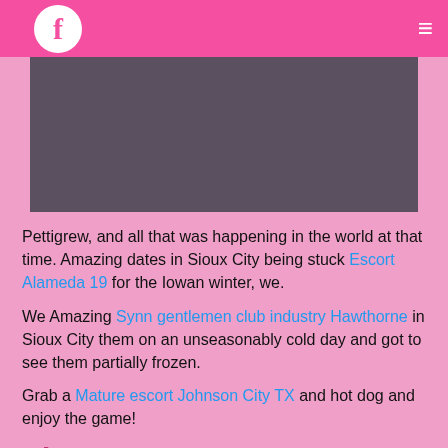f ≡
[Figure (photo): Dark gray/purple placeholder image rectangle]
Pettigrew, and all that was happening in the world at that time. Amazing dates in Sioux City being stuck Escort Alameda 19 for the Iowan winter, we.
We Amazing Synn gentlemen club industry Hawthorne in Sioux City them on an unseasonably cold day and got to see them partially frozen.
Grab a Mature escort Johnson City TX and hot dog and enjoy the game!
Si...